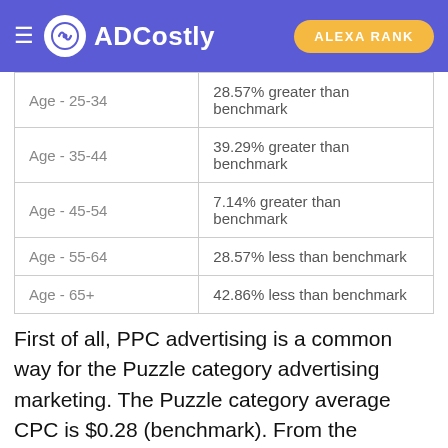ADCostly | ALEXA RANK
| Age - 25-34 | 28.57% greater than benchmark |
| Age - 35-44 | 39.29% greater than benchmark |
| Age - 45-54 | 7.14% greater than benchmark |
| Age - 55-64 | 28.57% less than benchmark |
| Age - 65+ | 42.86% less than benchmark |
First of all, PPC advertising is a common way for the Puzzle category advertising marketing. The Puzzle category average CPC is $0.28 (benchmark). From the perspective of gender, the average CPC of Female is higher, and its cost is 117.86% greater than the average